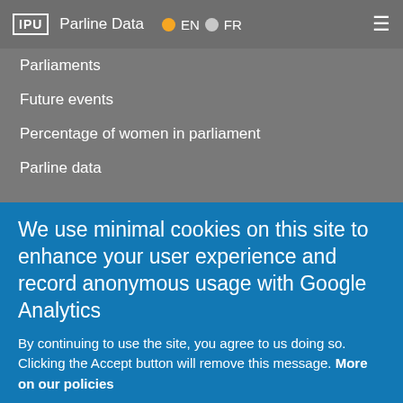IPU Parline Data EN FR
Parliaments
Future events
Percentage of women in parliament
Parline data
Connect
Facebook
Flickr
Instagram
LinkedIn
Twitter
YouTube
We use minimal cookies on this site to enhance your user experience and record anonymous usage with Google Analytics
By continuing to use the site, you agree to us doing so. Clicking the Accept button will remove this message. More on our policies